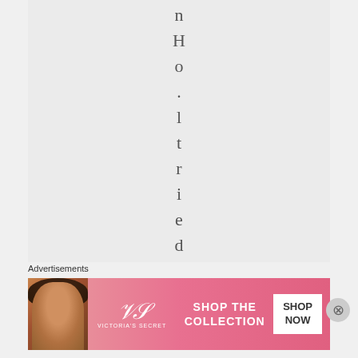n H o . l t r i e d H a n
Advertisements
[Figure (photo): Victoria's Secret advertisement banner with a model, VS logo, 'SHOP THE COLLECTION' text and 'SHOP NOW' button]